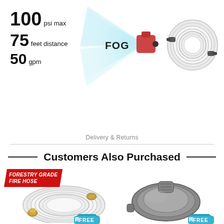100 psi max
75 feet distance
50 gpm
[Figure (photo): Fog spray nozzle spraying water labeled FOG]
[Figure (photo): Rolled white fire hose with brass fittings]
Delivery & Returns
Customers Also Purchased
[Figure (photo): Forestry grade fire hose badge and coiled white hose with brass fittings]
[Figure (photo): Gray fire hose adapter/coupling]